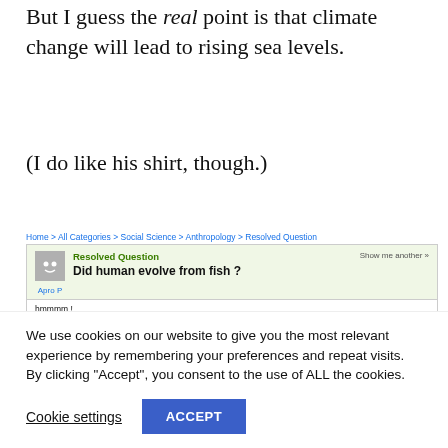But I guess the real point is that climate change will lead to rising sea levels.
(I do like his shirt, though.)
[Figure (screenshot): Yahoo Answers screenshot showing a resolved question: 'Did human evolve from fish?' asked by Apro P with breadcrumb Home > All Categories > Social Science > Anthropology > Resolved Question]
We use cookies on our website to give you the most relevant experience by remembering your preferences and repeat visits. By clicking “Accept”, you consent to the use of ALL the cookies.
Cookie settings   ACCEPT